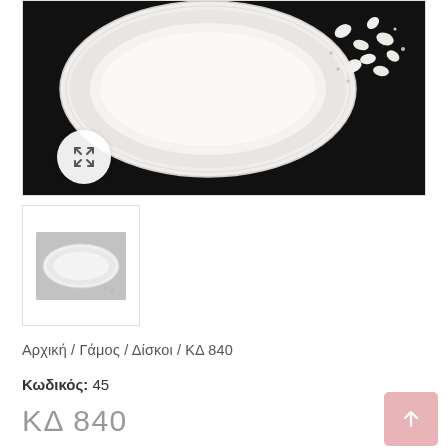[Figure (photo): Main product image of a decorative oval plate/tray on a dark black background with small white candy-coated almonds (sugared almonds) scattered around it. The plate appears to have an ornate embossed rim.]
[Figure (photo): Thumbnail image of the same white oval plate/tray on a grey background, shown from a top-down angle.]
Αρχική / Γάμος / Δίσκοι / ΚΔ 840
Κωδικός: 45
ΚΔ 840